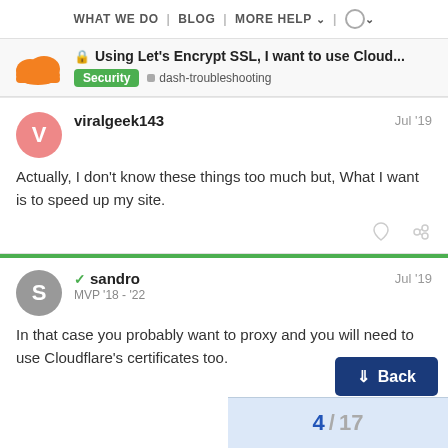WHAT WE DO | BLOG | MORE HELP | 🌐
🔒 Using Let's Encrypt SSL, I want to use Cloud...
Security  dash-troubleshooting
viralgeek143  Jul '19
Actually, I don't know these things too much but, What I want is to speed up my site.
sandro  Jul '19
MVP '18 - '22
In that case you probably want to proxy and you will need to use Cloudflare's certificates too.
Back
4 / 17